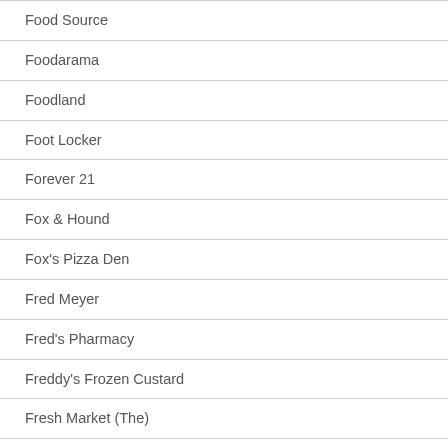Food Source
Foodarama
Foodland
Foot Locker
Forever 21
Fox & Hound
Fox's Pizza Den
Fred Meyer
Fred's Pharmacy
Freddy's Frozen Custard
Fresh Market (The)
Fresh Thyme Market
Friendly's
Fry's Electronics